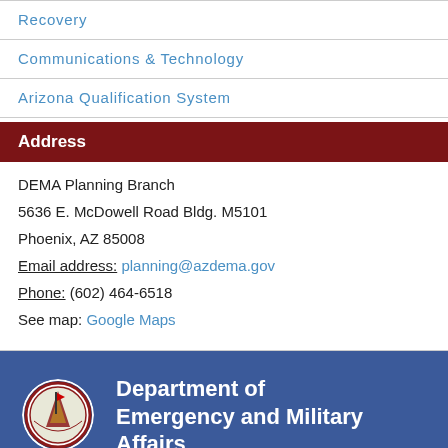Recovery
Communications & Technology
Arizona Qualification System
Address
DEMA Planning Branch
5636 E. McDowell Road Bldg. M5101
Phoenix, AZ 85008
Email address: planning@azdema.gov
Phone: (602) 464-6518
See map: Google Maps
[Figure (logo): Arizona Department of Emergency and Military Affairs circular seal/logo]
Department of Emergency and Military Affairs